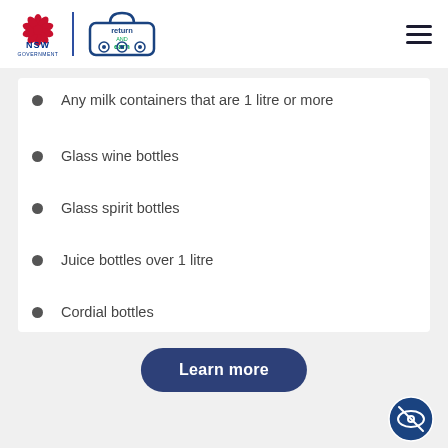NSW Government | Return and Earn
Any milk containers that are 1 litre or more
Glass wine bottles
Glass spirit bottles
Juice bottles over 1 litre
Cordial bottles
Learn more